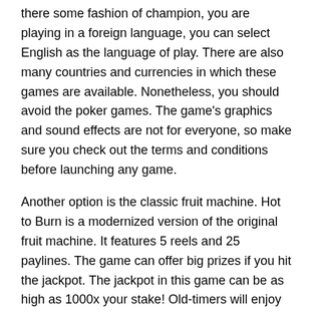there some fashion of champion, you are playing in a foreign language, you can select English as the language of play. There are also many countries and currencies in which these games are available. Nonetheless, you should avoid the poker games. The game's graphics and sound effects are not for everyone, so make sure you check out the terms and conditions before launching any game.
Another option is the classic fruit machine. Hot to Burn is a modernized version of the original fruit machine. It features 5 reels and 25 paylines. The game can offer big prizes if you hit the jackpot. The jackpot in this game can be as high as 1000x your stake! Old-timers will enjoy this classic slot. And if you have an old-fashioned soul, this is the game for you! If you enjoy playing classic games, try Hot to Burn.